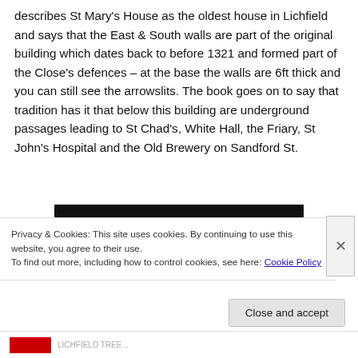describes St Mary's House as the oldest house in Lichfield and says that the East & South walls are part of the original building which dates back to before 1321 and formed part of the Close's defences – at the base the walls are 6ft thick and you can still see the arrowslits. The book goes on to say that tradition has it that below this building are underground passages leading to St Chad's, White Hall, the Friary, St John's Hospital and the Old Brewery on Sandford St.
[Figure (photo): A dark/black rectangular image bar, partially visible]
Privacy & Cookies: This site uses cookies. By continuing to use this website, you agree to their use.
To find out more, including how to control cookies, see here: Cookie Policy
Close and accept